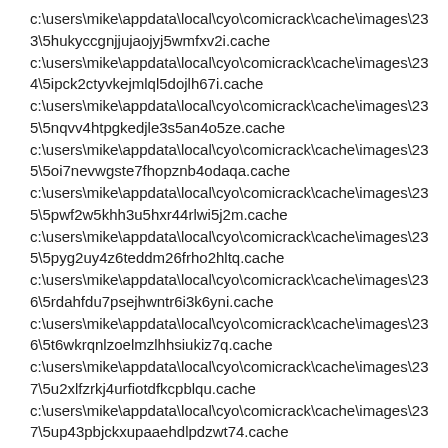c:\users\mike\appdata\local\cyo\comicrack\cache\images\233\5hukyccgnjjujaojyj5wmfxv2i.cache
c:\users\mike\appdata\local\cyo\comicrack\cache\images\234\5ipck2ctyvkejmlql5dojlh67i.cache
c:\users\mike\appdata\local\cyo\comicrack\cache\images\235\5nqvv4htpgkedjle3s5an4o5ze.cache
c:\users\mike\appdata\local\cyo\comicrack\cache\images\235\5oi7nevwgste7fhopznb4odaqa.cache
c:\users\mike\appdata\local\cyo\comicrack\cache\images\235\5pwf2w5khh3u5hxr44rlwi5j2m.cache
c:\users\mike\appdata\local\cyo\comicrack\cache\images\235\5pyg2uy4z6teddm26frho2hltq.cache
c:\users\mike\appdata\local\cyo\comicrack\cache\images\236\5rdahfdu7psejhwntr6i3k6yni.cache
c:\users\mike\appdata\local\cyo\comicrack\cache\images\236\5t6wkrqnlzoelmzlhhsiukiz7q.cache
c:\users\mike\appdata\local\cyo\comicrack\cache\images\237\5u2xlfzrkj4urfiotdfkcpblqu.cache
c:\users\mike\appdata\local\cyo\comicrack\cache\images\237\5up43pbjckxupaaehdlpdzwt74.cache
c:\users\mike\appdata\local\cyo\comicrack\cache\images\237\5vmzsuo54xveppkb3ofvsqp5bm.cache